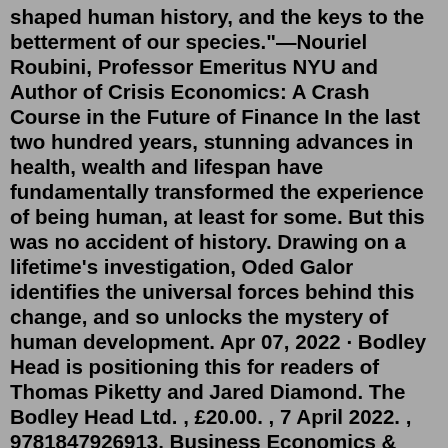shaped human history, and the keys to the betterment of our species."—Nouriel Roubini, Professor Emeritus NYU and Author of Crisis Economics: A Crash Course in the Future of Finance In the last two hundred years, stunning advances in health, wealth and lifespan have fundamentally transformed the experience of being human, at least for some. But this was no accident of history. Drawing on a lifetime's investigation, Oded Galor identifies the universal forces behind this change, and so unlocks the mystery of human development. Apr 07, 2022 · Bodley Head is positioning this for readers of Thomas Piketty and Jared Diamond. The Bodley Head Ltd. , £20.00. , 7 April 2022. , 9781847926913. Business Economics & Technology. Non-fiction. The Journey of Humanity: The Origins of Wealth and Inequality Hardcover – March 22, 2022 by Oded Galor (Author) 105 ratings Kindle $14.99 Read with Our Free App Audiobook $0.00 Free with your Audible trial Hardcover $21.99 26 Used from $15.28 36 New from $17.88 Paperback $18.97 2 Used from $45.45 3 New from $18.87 "The